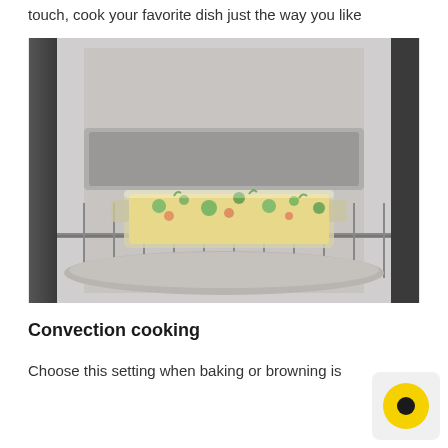touch, cook your favorite dish just the way you like
[Figure (photo): A glass baking dish with a casserole topped with herbs, sitting on an oven rack inside a stainless steel oven. The oven interior is visible with the reflective door and another baking pan below.]
Convection cooking
Choose this setting when baking or browning is